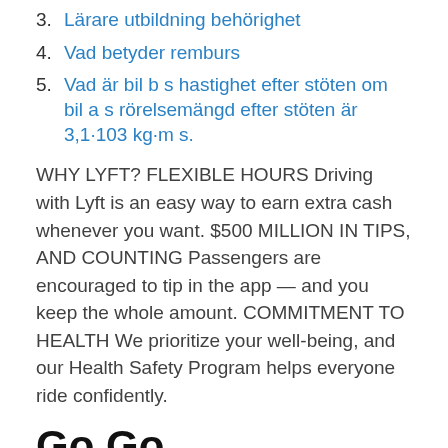3. Lärare utbildning behörighet
4. Vad betyder remburs
5. Vad är bil b s hastighet efter stöten om bil a s rörelsemängd efter stöten är 3,1·103 kg·m s.
WHY LYFT? FLEXIBLE HOURS Driving with Lyft is an easy way to earn extra cash whenever you want. $500 MILLION IN TIPS, AND COUNTING Passengers are encouraged to tip in the app — and you keep the whole amount. COMMITMENT TO HEALTH We prioritize your well-being, and our Health Safety Program helps everyone ride confidently.
Go Go Grandparent